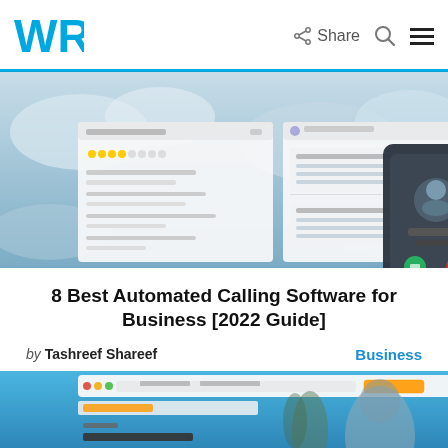WR | Share [search] [menu]
[Figure (screenshot): Screenshot of automated calling software interface showing contact list and mobile call screen overlay, on a cloudy sky background]
8 Best Automated Calling Software for Business [2022 Guide]
by Tashreef Shareef   Business
[Figure (screenshot): Partial screenshot of Amazon Pay website interface with a woman in the background, on a blue background]